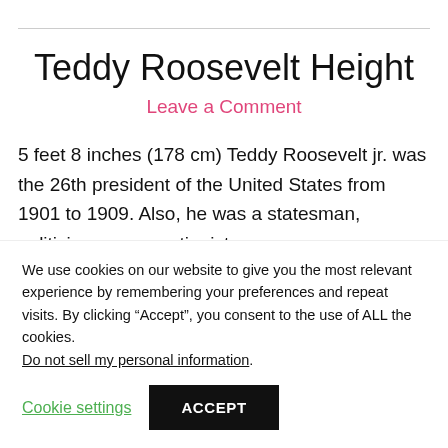Teddy Roosevelt Height
Leave a Comment
5 feet 8 inches (178 cm) Teddy Roosevelt jr. was the 26th president of the United States from 1901 to 1909. Also, he was a statesman, politician, conservationist.
We use cookies on our website to give you the most relevant experience by remembering your preferences and repeat visits. By clicking “Accept”, you consent to the use of ALL the cookies.
Do not sell my personal information.
Cookie settings
ACCEPT